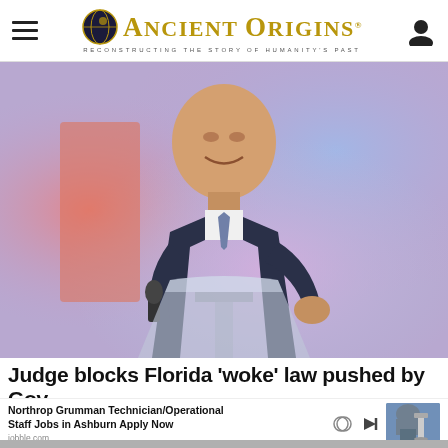Ancient Origins — Reconstructing the story of humanity's past
[Figure (photo): A man in a dark suit speaking at a clear podium, holding a microphone, with colorful blurred stage lighting in the background (pink, blue, orange tones)]
Judge blocks Florida 'woke' law pushed by Gov.
Northrop Grumman Technician/Operational Staff Jobs in Ashburn Apply Now
jobble.com…
[Figure (photo): Small thumbnail showing a person in hijab looking into a microscope]